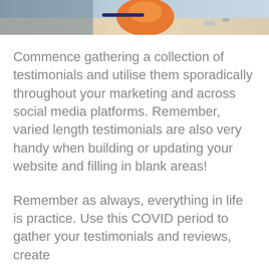[Figure (photo): Partial beach scene photo showing an orange object (possibly a float or hat) on sand with blue and beige tones, cropped at top of page]
Commence gathering a collection of testimonials and utilise them sporadically throughout your marketing and across social media platforms. Remember, varied length testimonials are also very handy when building or updating your website and filling in blank areas!
Remember as always, everything in life is practice. Use this COVID period to gather your testimonials and reviews, create